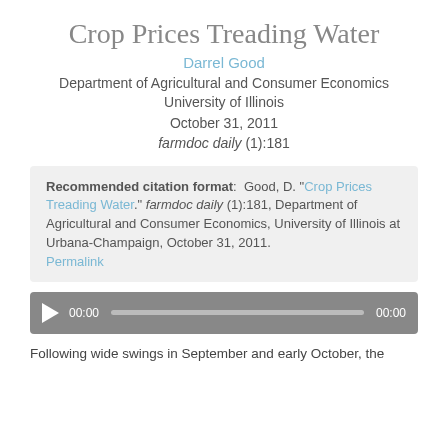Crop Prices Treading Water
Darrel Good
Department of Agricultural and Consumer Economics
University of Illinois
October 31, 2011
farmdoc daily (1):181
Recommended citation format:  Good, D. "Crop Prices Treading Water." farmdoc daily (1):181, Department of Agricultural and Consumer Economics, University of Illinois at Urbana-Champaign, October 31, 2011. Permalink
[Figure (other): Audio player bar with play button, 00:00 time markers, and progress track]
Following wide swings in September and early October, the